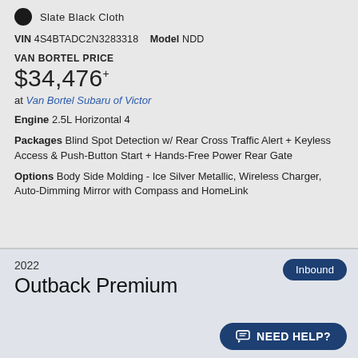Slate Black Cloth
VIN 4S4BTADC2N3283318   Model NDD
VAN BORTEL PRICE
$34,476*
at Van Bortel Subaru of Victor
Engine 2.5L Horizontal 4
Packages Blind Spot Detection w/ Rear Cross Traffic Alert + Keyless Access & Push-Button Start + Hands-Free Power Rear Gate
Options Body Side Molding - Ice Silver Metallic, Wireless Charger, Auto-Dimming Mirror with Compass and HomeLink
Inbound
2022
Outback Premium
NEED HELP?